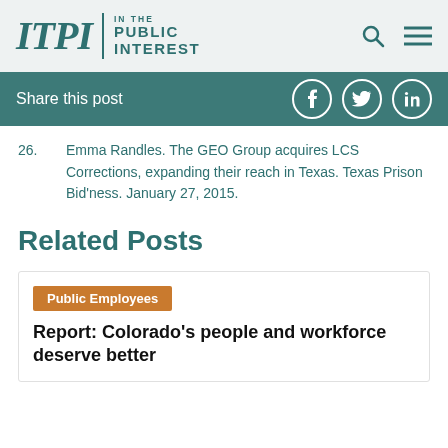ITPI | IN THE PUBLIC INTEREST
Share this post
26. Emma Randles. The GEO Group acquires LCS Corrections, expanding their reach in Texas. Texas Prison Bid’ness. January 27, 2015.
Related Posts
Public Employees
Report: Colorado’s people and workforce deserve better